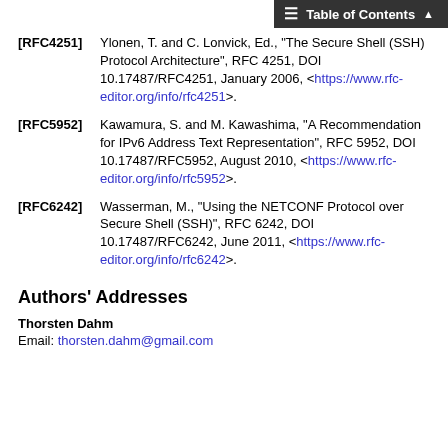[RFC4251] Ylonen, T. and C. Lonvick, Ed., "The Secure Shell (SSH) Protocol Architecture", RFC 4251, DOI 10.17487/RFC4251, January 2006, <https://www.rfc-editor.org/info/rfc4251>.
[RFC5952] Kawamura, S. and M. Kawashima, "A Recommendation for IPv6 Address Text Representation", RFC 5952, DOI 10.17487/RFC5952, August 2010, <https://www.rfc-editor.org/info/rfc5952>.
[RFC6242] Wasserman, M., "Using the NETCONF Protocol over Secure Shell (SSH)", RFC 6242, DOI 10.17487/RFC6242, June 2011, <https://www.rfc-editor.org/info/rfc6242>.
Authors' Addresses
Thorsten Dahm
Email: thorsten.dahm@gmail.com